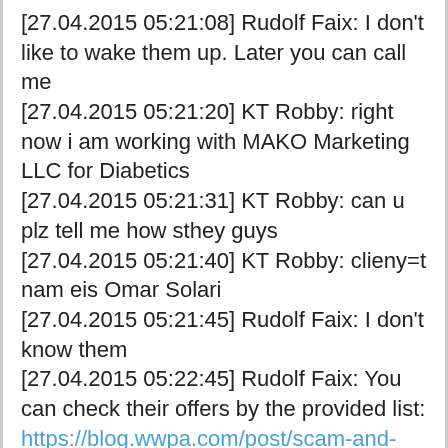[27.04.2015 05:21:08] Rudolf Faix: I don't like to wake them up. Later you can call me
[27.04.2015 05:21:20] KT Robby: right now i am working with MAKO Marketing LLC for Diabetics
[27.04.2015 05:21:31] KT Robby: can u plz tell me how sthey guys
[27.04.2015 05:21:40] KT Robby: clieny=t nam eis Omar Solari
[27.04.2015 05:21:45] Rudolf Faix: I don't know them
[27.04.2015 05:22:45] Rudolf Faix: You can check their offers by the provided list: https://blog.wwpa.com/post/scam-and-scammer-how-to-identify-them
[27.04.2015 05:25:03] KT Robby: but you make a update for kathy sisk for medical compensation for scameers
[27.04.2015 05:25:11] KT Robby: what does it means
[27.04.2015 05:25:49] Rudolf Faix: I did not